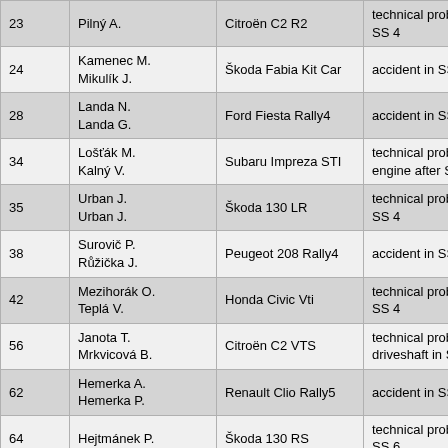| 23 | Pilný A. | Citroën C2 R2 | technical problem after SS 4 |
| 24 | Kamenec M.
Mikulík J. | Škoda Fabia Kit Car | accident in SS 7 |
| 28 | Landa N.
Landa G. | Ford Fiesta Rally4 | accident in SS 1 |
| 34 | Lošťák M.
Kalný V. | Subaru Impreza STI | technical problem - engine after SS 3 |
| 35 | Urban J.
Urban J. | Škoda 130 LR | technical problem after SS 4 |
| 38 | Surovič P.
Růžička J. | Peugeot 208 Rally4 | accident in SS 6 |
| 42 | Mezihorák O.
Teplá V. | Honda Civic Vti | technical problem in SS 4 |
| 56 | Janota T.
Mrkvicová B. | Citroën C2 VTS | technical problem - driveshaft in SS 4 |
| 62 | Hemerka A.
Hemerka P. | Renault Clio Rally5 | accident in SS 2 |
| 64 | Hejtmánek P. | Škoda 130 RS | technical problem in SS 6 |